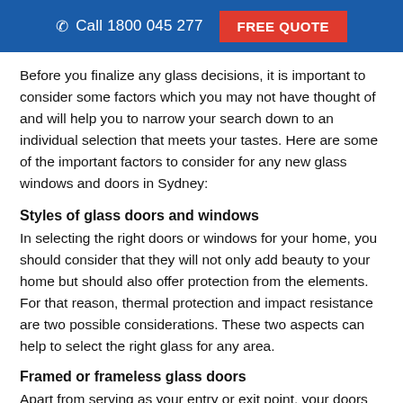Call 1800 045 277   FREE QUOTE
Before you finalize any glass decisions, it is important to consider some factors which you may not have thought of and will help you to narrow your search down to an individual selection that meets your tastes. Here are some of the important factors to consider for any new glass windows and doors in Sydney:
Styles of glass doors and windows
In selecting the right doors or windows for your home, you should consider that they will not only add beauty to your home but should also offer protection from the elements. For that reason, thermal protection and impact resistance are two possible considerations. These two aspects can help to select the right glass for any area.
Framed or frameless glass doors
Apart from serving as your entry or exit point, your doors